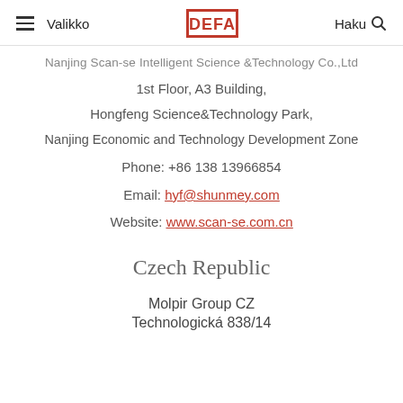Valikko | DEFA | Haku
Nanjing Scan-se Intelligent Science &Technology Co.,Ltd
1st Floor, A3 Building,
Hongfeng Science&Technology Park,
Nanjing Economic and Technology Development Zone
Phone: +86 138 13966854
Email: hyf@shunmey.com
Website: www.scan-se.com.cn
Czech Republic
Molpir Group CZ
Technologická 838/14